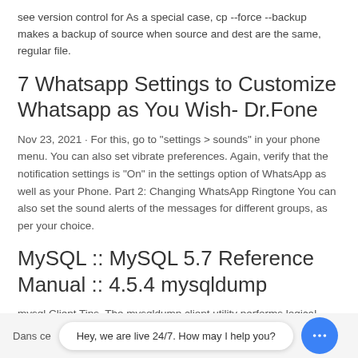see version control for As a special case, cp --force --backup makes a backup of source when source and dest are the same, regular file.
7 Whatsapp Settings to Customize Whatsapp as You Wish- Dr.Fone
Nov 23, 2021 · For this, go to "settings > sounds" in your phone menu. You can also set vibrate preferences. Again, verify that the notification settings is "On" in the settings option of WhatsApp as well as your Phone. Part 2: Changing WhatsApp Ringtone You can also set the sound alerts of the messages for different groups, as per your choice.
MySQL :: MySQL 5.7 Reference Manual :: 4.5.4 mysqldump
mysql Client Tips. The mysqldump client utility performs logical backups , producing a set of SQL statements that
Dans ce   Hey, we are live 24/7. How may I help you?